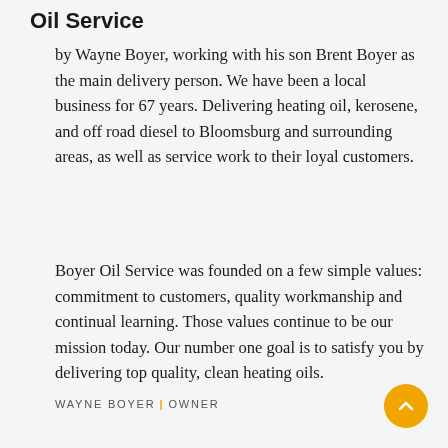Oil Service
by Wayne Boyer, working with his son Brent Boyer as the main delivery person. We have been a local business for 67 years. Delivering heating oil, kerosene, and off road diesel to Bloomsburg and surrounding areas, as well as service work to their loyal customers.
Boyer Oil Service was founded on a few simple values: commitment to customers, quality workmanship and continual learning. Those values continue to be our mission today. Our number one goal is to satisfy you by delivering top quality, clean heating oils.
WAYNE BOYER | OWNER